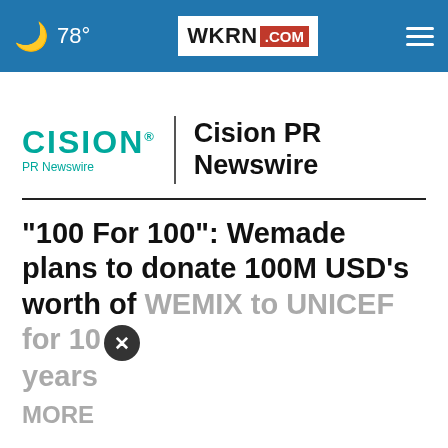78° WKRN.COM
[Figure (logo): Cision PR Newswire logo with teal CISION wordmark, vertical divider, and bold Cision PR Newswire text]
"100 For 100": Wemade plans to donate 100M USD's worth of WEMIX to UNICEF for 10 years